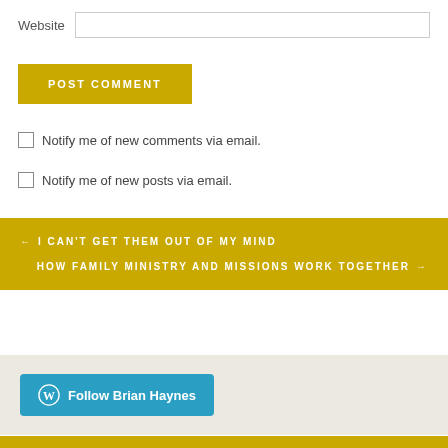Website
POST COMMENT
Notify me of new comments via email.
Notify me of new posts via email.
← I CAN'T GET THEM OUT OF MY MIND
HOW FAMILY MINISTRY AND MISSIONS WORK TOGETHER →
Follow Brian Haynes